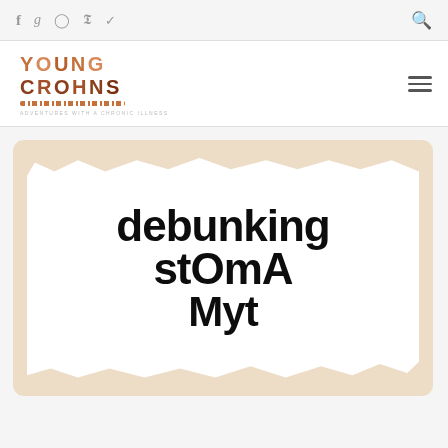f g ☉ p Twitter [icons] Search [icon]
[Figure (logo): Young Crohns blog logo with text 'YOUNG CROHNS' in brown/terracotta lettering, wavy underline, tagline 'ADVENTURES WITH A CHRONIC ILLNESS']
[Figure (illustration): Article thumbnail card with beige/tan background, white brushstroke area in center, bold hand-lettered black text reading 'DEBUNKING stoma' with partial text below]